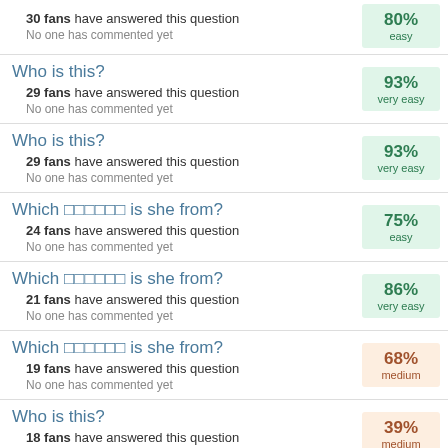30 fans have answered this question
No one has commented yet
80% easy
Who is this?
29 fans have answered this question
No one has commented yet
93% very easy
Who is this?
29 fans have answered this question
No one has commented yet
93% very easy
Which 🔲🔲🔲🔲🔲🔲 is she from?
24 fans have answered this question
No one has commented yet
75% easy
Which 🔲🔲🔲🔲🔲🔲 is she from?
21 fans have answered this question
No one has commented yet
86% very easy
Which 🔲🔲🔲🔲🔲🔲 is she from?
19 fans have answered this question
No one has commented yet
68% medium
Who is this?
18 fans have answered this question
No one has commented yet
39% medium
Who is this?